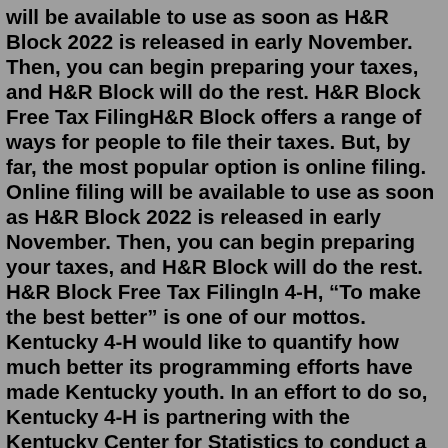will be available to use as soon as H&R Block 2022 is released in early November. Then, you can begin preparing your taxes, and H&R Block will do the rest. H&R Block Free Tax FilingH&R Block offers a range of ways for people to file their taxes. But, by far, the most popular option is online filing. Online filing will be available to use as soon as H&R Block 2022 is released in early November. Then, you can begin preparing your taxes, and H&R Block will do the rest. H&R Block Free Tax FilingIn 4-H, “To make the best better” is one of our mottos. Kentucky 4-H would like to quantify how much better its programming efforts have made Kentucky youth. In an effort to do so, Kentucky 4-H is partnering with the Kentucky Center for Statistics to conduct a data analysis about the post-secondary success of its members compared to the ... The H&R Block tax calculator 2022 is available online for free to estimate your tax refund. Given that this tool comes in handy, we wanted to break down the H&R Block Tax Calculator's process and provide a little education on how the H&R Block